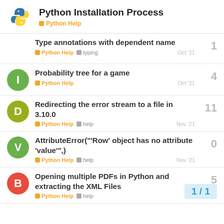Python Installation Process — Python Help
Type annotations with dependent name — Python Help, typing — Oct '21 — replies: 1
Probability tree for a game — Python Help — Oct '21 — replies: 4
Redirecting the error stream to a file in 3.10.0 — Python Help, help — Nov '21 — replies: 11
AttributeError("'Row' object has no attribute 'value'",) — Python Help, help — Nov '21 — replies: 0
Opening multiple PDFs in Python and extracting the XML Files — Python Help, help — replies: 5
1 / 1